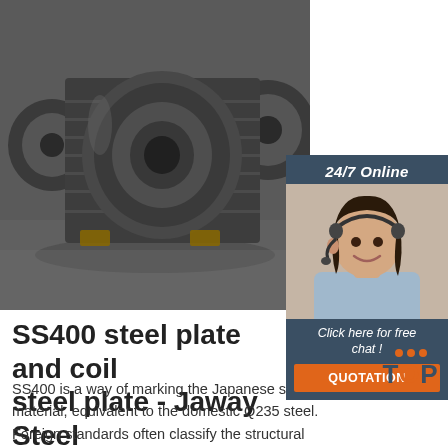[Figure (photo): Large coiled steel rolls/coils stored in an industrial warehouse]
[Figure (photo): Customer service representative with headset smiling, shown in a '24/7 Online' chat widget overlay with 'Click here for free chat!' text and QUOTATION button]
SS400 steel plate and coil steel plate - Jaway Steel
SS400 is a way of marking the Japanese steel material, equivalent to the domestic Q235 steel. Foreign standards often classify the structural steel material according to the tensile strength, such as discount price sale SS400 steel plate,